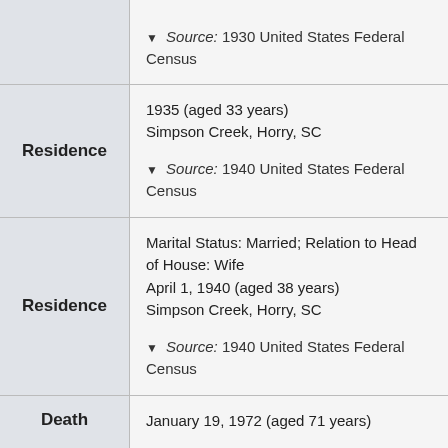| Category | Details |
| --- | --- |
|  | ▼ Source: 1930 United States Federal Census |
| Residence | 1935 (aged 33 years)
Simpson Creek, Horry, SC
▼ Source: 1940 United States Federal Census |
| Residence | Marital Status: Married; Relation to Head of House: Wife
April 1, 1940 (aged 38 years)
Simpson Creek, Horry, SC
▼ Source: 1940 United States Federal Census |
| Death | January 19, 1972 (aged 71 years) |